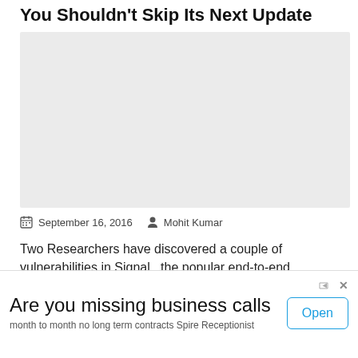You Shouldn't Skip Its Next Update
[Figure (photo): Large grey placeholder image area]
September 16, 2016   Mohit Kumar
Two Researchers have discovered a couple of vulnerabilities in Signal , the popular end-to-end encrypted...
[Figure (other): Advertisement banner: 'Are you missing business calls' with Open button, subtext 'month to month no long term contracts Spire Receptionist']